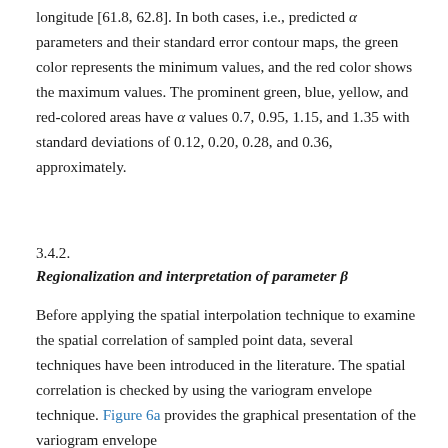longitude [61.8, 62.8]. In both cases, i.e., predicted α parameters and their standard error contour maps, the green color represents the minimum values, and the red color shows the maximum values. The prominent green, blue, yellow, and red-colored areas have α values 0.7, 0.95, 1.15, and 1.35 with standard deviations of 0.12, 0.20, 0.28, and 0.36, approximately.
3.4.2.
Regionalization and interpretation of parameter β
Before applying the spatial interpolation technique to examine the spatial correlation of sampled point data, several techniques have been introduced in the literature. The spatial correlation is checked by using the variogram envelope technique. Figure 6a provides the graphical presentation of the variogram envelope